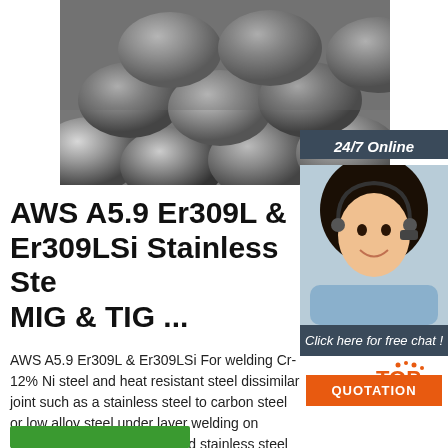[Figure (photo): Steel rods/bars stacked together, gray metallic surface]
24/7 Online
[Figure (photo): Customer service woman with headset smiling]
Click here for free chat !
QUOTATION
AWS A5.9 Er309L & Er309LSi Stainless Ste MIG & TIG ...
AWS A5.9 Er309L & Er309LSi For welding Cr-12% Ni steel and heat resistant steel dissimilar joint such as a stainless steel to carbon steel or low alloy steel under layer welding on cladded side grove of cladded stainless steel or carbon steel where stainless steel weld metal is overlayed.